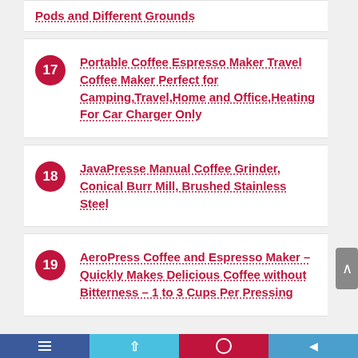Pods and Different Grounds
17. Portable Coffee Espresso Maker Travel Coffee Maker Perfect for Camping,Travel,Home and Office,Heating For Car Charger Only
18. JavaPresse Manual Coffee Grinder, Conical Burr Mill, Brushed Stainless Steel
19. AeroPress Coffee and Espresso Maker – Quickly Makes Delicious Coffee without Bitterness – 1 to 3 Cups Per Pressing